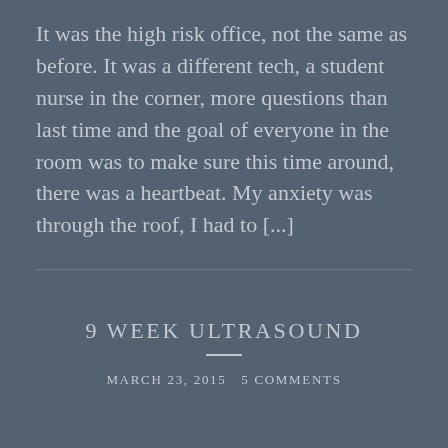It was the high risk office, not the same as before. It was a different tech, a student nurse in the corner, more questions than last time and the goal of everyone in the room was to make sure this time around, there was a heartbeat. My anxiety was through the roof, I had to [...]
9 WEEK ULTRASOUND
MARCH 23, 2015   5 COMMENTS